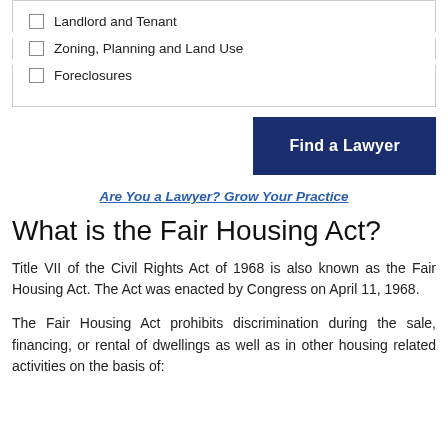Landlord and Tenant
Zoning, Planning and Land Use
Foreclosures
Find a Lawyer
Are You a Lawyer? Grow Your Practice
What is the Fair Housing Act?
Title VII of the Civil Rights Act of 1968 is also known as the Fair Housing Act. The Act was enacted by Congress on April 11, 1968.
The Fair Housing Act prohibits discrimination during the sale, financing, or rental of dwellings as well as in other housing related activities on the basis of: